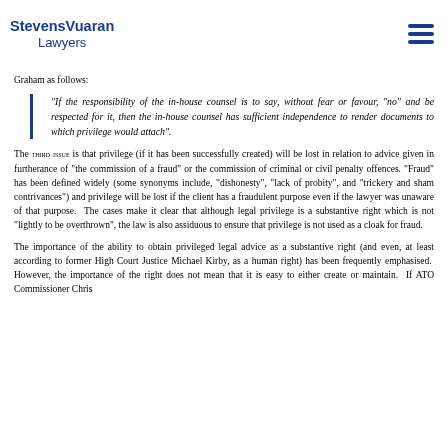Stevens Vuaran Lawyers
Graham as follows:
“If the responsibility of the in-house counsel is to say, without fear or favour, “no” and be respected for it, then the in-house counsel has sufficient independence to render documents to which privilege would attach”.
The third issue is that privilege (if it has been successfully created) will be lost in relation to advice given in furtherance of “the commission of a fraud” or the commission of criminal or civil penalty offences. “Fraud” has been defined widely (some synonyms include, “dishonesty”, “lack of probity”, and “trickery and sham contrivances”) and privilege will be lost if the client has a fraudulent purpose even if the lawyer was unaware of that purpose. The cases make it clear that although legal privilege is a substantive right which is not “lightly to be overthrown”, the law is also assiduous to ensure that privilege is not used as a cloak for fraud.
The importance of the ability to obtain privileged legal advice as a substantive right (and even, at least according to former High Court Justice Michael Kirby, as a human right) has been frequently emphasised. However, the importance of the right does not mean that it is easy to either create or maintain. If ATO Commissioner Chris